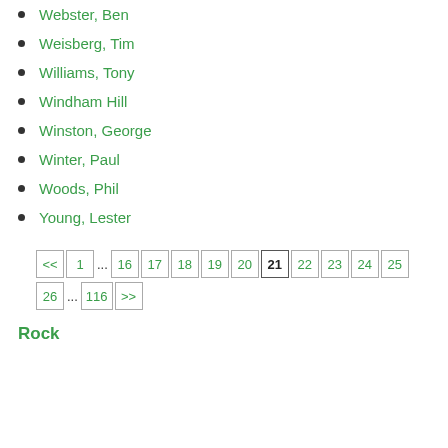Webster, Ben
Weisberg, Tim
Williams, Tony
Windham Hill
Winston, George
Winter, Paul
Woods, Phil
Young, Lester
<< 1 ... 16 17 18 19 20 21 22 23 24 25 26 ... 116 >>
Rock